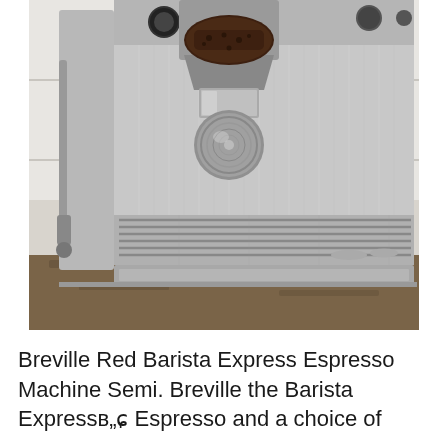[Figure (photo): Close-up photo of a Breville Barista Express espresso machine in stainless steel, showing the grinder chute with coffee grounds, a portafilter, control knobs, and a drip tray, set on a granite countertop against a white tile backsplash.]
Breville Red Barista Express Espresso Machine Semi. Breville the Barista Expressв„ў Espresso and a choice of